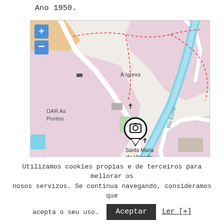Ano 1950.
[Figure (map): Interactive map showing location of Santa Maria de Vilavella near A Igrexa and Rio Eume, with a camera/location pin marker. Map includes zoom controls (+/-), pink-shaded areas, roads, a river (Rio Eume), and labels for 'A Igrexa', 'DAR As Pontes', 'Santa Maria de Vilavella', 'As Veigas de'.]
Utilizamos cookies propias e de terceiros para mellorar os nosos servizos. Se continua navegando, consideramos que acepta o seu uso.
Aceptar
Ler [+]